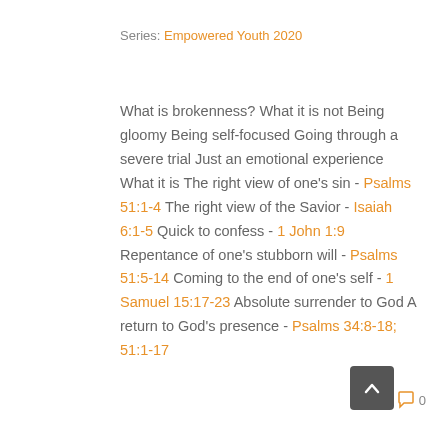Series: Empowered Youth 2020
What is brokenness? What it is not Being gloomy Being self-focused Going through a severe trial Just an emotional experience What it is The right view of one's sin - Psalms 51:1-4 The right view of the Savior - Isaiah 6:1-5 Quick to confess - 1 John 1:9 Repentance of one's stubborn will - Psalms 51:5-14 Coming to the end of one's self - 1 Samuel 15:17-23 Absolute surrender to God A return to God's presence - Psalms 34:8-18; 51:1-17